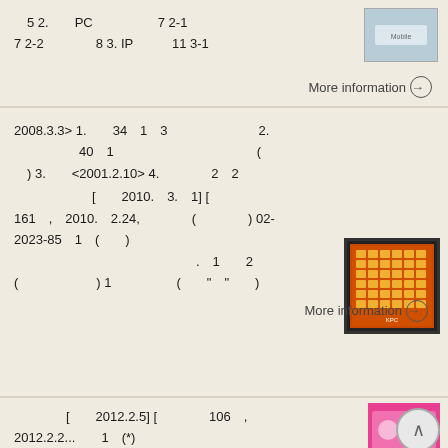5 2.  PC  7 2-1
7 2-2  8 3. IP  11 3-1
More information →
2008.3.3> 1.  34  1  3  2.
  40  1  (
 ) 3.  <2001.2.10> 4.  2  2
[ 2010. 3. 1] [
161 , 2010. 2.24, ( ) 02-
2023-85  1  (  )
. 1  2
( ) 1 ( " " )
More information →
[ 2012.2.5] [ 106 ,
2012.2.2... 1 (*)